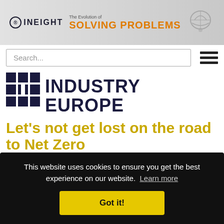[Figure (illustration): InEight banner advertisement with logo, text 'The Evolution of SOLVING PROBLEMS' and a brain graphic on gray gradient background]
Search...
[Figure (logo): Industry Europe logo — grid icon with 'INDUSTRY EUROPE' text in dark navy blue]
Let's not get lost on the road to Net Zero
by Mats W Lundberg
This website uses cookies to ensure you get the best experience on our website.  Learn more
Got it!
…road, …be towards Net-Zero. But this doesn't mean the path is